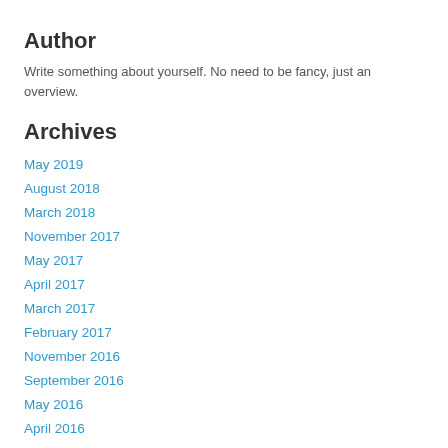Author
Write something about yourself. No need to be fancy, just an overview.
Archives
May 2019
August 2018
March 2018
November 2017
May 2017
April 2017
March 2017
February 2017
November 2016
September 2016
May 2016
April 2016
March 2016
February 2016
January 2016